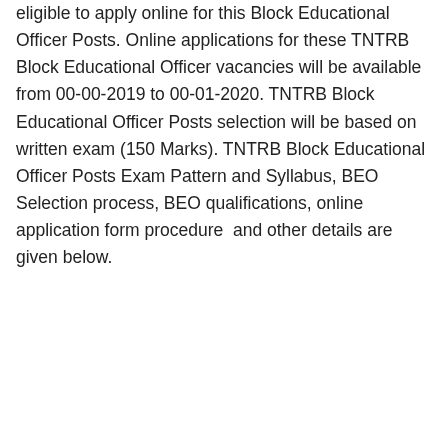eligible to apply online for this Block Educational Officer Posts. Online applications for these TNTRB Block Educational Officer vacancies will be available from 00-00-2019 to 00-01-2020. TNTRB Block Educational Officer Posts selection will be based on written exam (150 Marks). TNTRB Block Educational Officer Posts Exam Pattern and Syllabus, BEO Selection process, BEO qualifications, online application form procedure  and other details are given below.